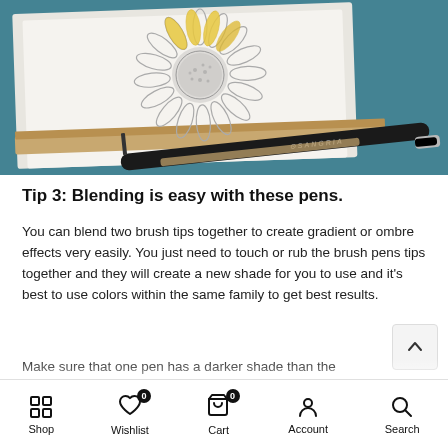[Figure (photo): Photo of an open sketchbook with a partially colored sunflower drawing (yellow petals, intricate center), alongside a black Sangria brush pen on a teal/blue surface.]
Tip 3: Blending is easy with these pens.
You can blend two brush tips together to create gradient or ombre effects very easily. You just need to touch or rub the brush pens tips together and they will create a new shade for you to use and it's best to use colors within the same family to get best results.
Make sure that one pen has a darker shade than the Apply the darker brush tip to the lighter one. You kno...
Shop  Wishlist 0  Cart 0  Account  Search